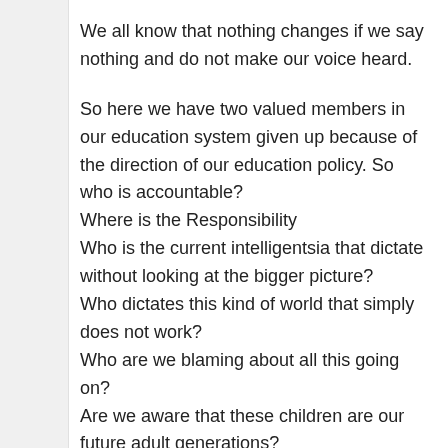We all know that nothing changes if we say nothing and do not make our voice heard.
So here we have two valued members in our education system given up because of the direction of our education policy. So who is accountable?
Where is the Responsibility
Who is the current intelligentsia that dictate without looking at the bigger picture?
Who dictates this kind of world that simply does not work?
Who are we blaming about all this going on?
Are we aware that these children are our future adult generations?
What are we doing to them that mental